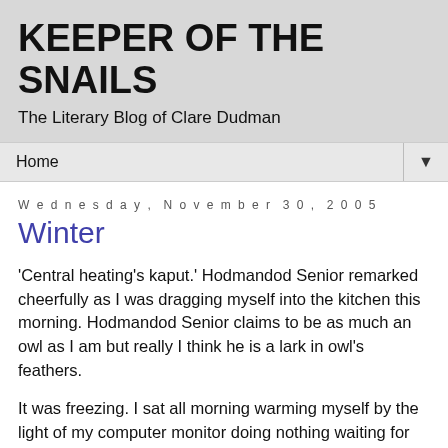KEEPER OF THE SNAILS
The Literary Blog of Clare Dudman
Home ▼
Wednesday, November 30, 2005
Winter
'Central heating's kaput.' Hodmandod Senior remarked cheerfully as I was dragging myself into the kitchen this morning. Hodmandod Senior claims to be as much an owl as I am but really I think he is a lark in owl's feathers.
It was freezing. I sat all morning warming myself by the light of my computer monitor doing nothing waiting for the service engineer to call. Very, very bleak. Happiness quest all but forgotten. Zilch writing. Zilch anything. I phoned my parents and told them what was happening. 'If you can't come